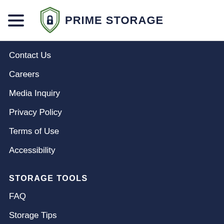[Figure (logo): Prime Storage logo with shield icon and padlock, company name in dark navy uppercase letters]
Contact Us
Careers
Media Inquiry
Privacy Policy
Terms of Use
Accessibility
STORAGE TOOLS
FAQ
Storage Tips
Size Guide